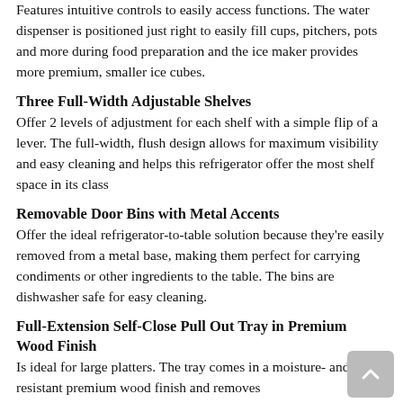Features intuitive controls to easily access functions. The water dispenser is positioned just right to easily fill cups, pitchers, pots and more during food preparation and the ice maker provides more premium, smaller ice cubes.
Three Full-Width Adjustable Shelves
Offer 2 levels of adjustment for each shelf with a simple flip of a lever. The full-width, flush design allows for maximum visibility and easy cleaning and helps this refrigerator offer the most shelf space in its class
Removable Door Bins with Metal Accents
Offer the ideal refrigerator-to-table solution because they're easily removed from a metal base, making them perfect for carrying condiments or other ingredients to the table. The bins are dishwasher safe for easy cleaning.
Full-Extension Self-Close Pull Out Tray in Premium Wood Finish
Is ideal for large platters. The tray comes in a moisture- and stain-resistant premium wood finish and removes